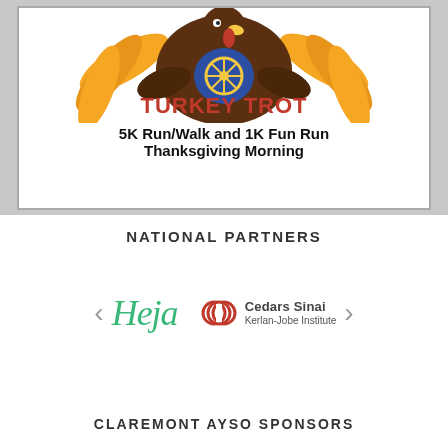[Figure (illustration): Turkey Trot 5K Run/Walk and 1K Fun Run Thanksgiving Morning event logo featuring a cartoon turkey wearing a Rotary vest with text 'TURKEY TROT' in red and '5K Run/Walk and 1K Fun Run Thanksgiving Morning' in bold black]
NATIONAL PARTNERS
[Figure (logo): Heja logo (green italic text) and Cedars Sinai Kerlan-Jobe Institute logo side by side, with left and right navigation arrows]
CLAREMONT AYSO SPONSORS